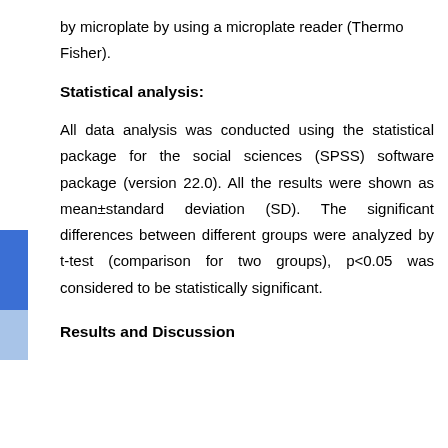by microplate by using a microplate reader (Thermo Fisher).
Statistical analysis:
All data analysis was conducted using the statistical package for the social sciences (SPSS) software package (version 22.0). All the results were shown as mean±standard deviation (SD). The significant differences between different groups were analyzed by t-test (comparison for two groups), p<0.05 was considered to be statistically significant.
Results and Discussion